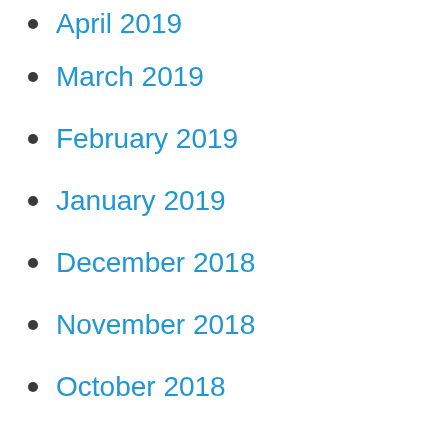April 2019
March 2019
February 2019
January 2019
December 2018
November 2018
October 2018
August 2018
July 2018
June 2018
May 2018
April 2018
March 2018
February 2018
January 2018
December 2017
November 2017